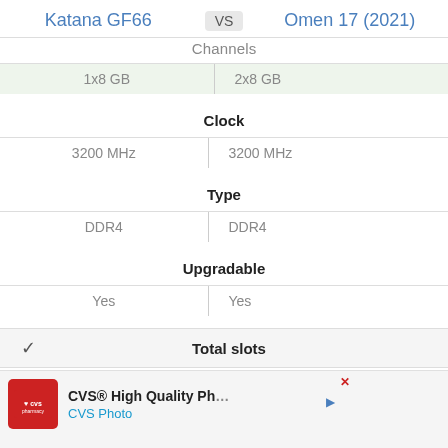Katana GF66  VS  Omen 17 (2021)
Channels
| Katana GF66 | Omen 17 (2021) |
| --- | --- |
| 1x8 GB | 2x8 GB |
| 3200 MHz | 3200 MHz |
| DDR4 | DDR4 |
| Yes | Yes |
Clock
Type
Upgradable
Total slots
[Figure (screenshot): CVS Pharmacy advertisement banner showing CVS logo and 'CVS High Quality Ph... CVS Photo' text]